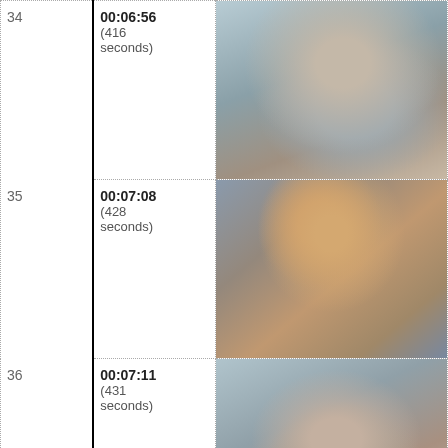|  | Shot # | Timecode | Frame |
| --- | --- | --- | --- |
| 34 | 00:06:56 (416 seconds) | [photo of man in grey shirt] |
| 35 | 00:07:08 (428 seconds) | [photo of young boy in patterned shirt] |
| 36 | 00:07:11 (431 seconds) | [photo of man looking up] |